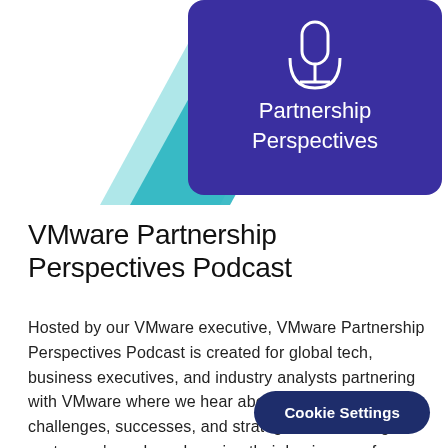[Figure (logo): VMware Partnership Perspectives Podcast logo: dark purple/indigo rounded rectangle with white microphone icon and text 'Partnership Perspectives', overlaid with teal diagonal geometric shapes on the left side]
VMware Partnership Perspectives Podcast
Hosted by our VMware executive, VMware Partnership Perspectives Podcast is created for global tech, business executives, and industry analysts partnering with VMware where we hear about their current challenges, successes, and strategies for meeting customers' needs and moving their businesses forwa…
Cookie Settings